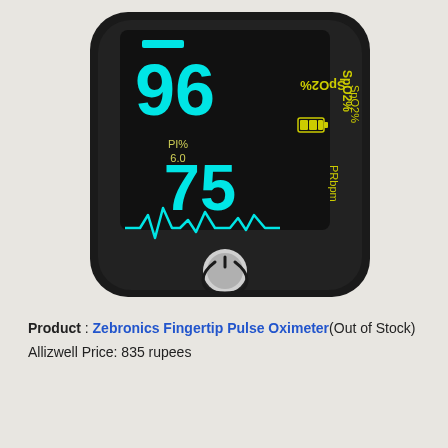[Figure (photo): Zebronics Fingertip Pulse Oximeter device showing OLED display with SpO2 reading of 96%, PI% 6.0, PR bpm reading of 75, and a pulse waveform. Device is black with rounded corners and a power button at the bottom.]
Product : Zebronics Fingertip Pulse Oximeter(Out of Stock)
Allizwell Price: 835 rupees